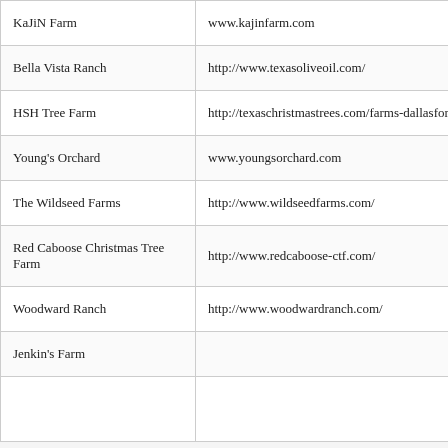| Farm Name | Website |
| --- | --- |
| KaJiN Farm | www.kajinfarm.com |
| Bella Vista Ranch | http://www.texasoliveoil.com/ |
| HSH Tree Farm | http://texaschristmastrees.com/farms-dallasfort-w |
| Young's Orchard | www.youngsorchard.com |
| The Wildseed Farms | http://www.wildseedfarms.com/ |
| Red Caboose Christmas Tree Farm | http://www.redcaboose-ctf.com/ |
| Woodward Ranch | http://www.woodwardranch.com/ |
| Jenkin's Farm |  |
|  |  |